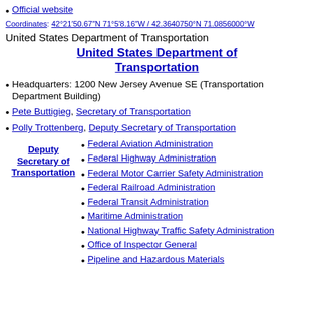Official website
Coordinates: 42°21′50.67″N 71°5′8.16″W / 42.3640750°N 71.0856000°W
United States Department of Transportation
United States Department of Transportation
Headquarters: 1200 New Jersey Avenue SE (Transportation Department Building)
Pete Buttigieg, Secretary of Transportation
Polly Trottenberg, Deputy Secretary of Transportation
Deputy Secretary of Transportation
Federal Aviation Administration
Federal Highway Administration
Federal Motor Carrier Safety Administration
Federal Railroad Administration
Federal Transit Administration
Maritime Administration
National Highway Traffic Safety Administration
Office of Inspector General
Pipeline and Hazardous Materials